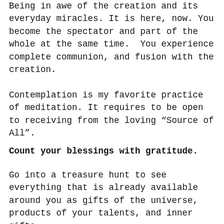Being in awe of the creation and its everyday miracles. It is here, now. You become the spectator and part of the whole at the same time.  You experience complete communion, and fusion with the creation.
Contemplation is my favorite practice of meditation. It requires to be open to receiving from the loving “Source of All”.
Count your blessings with gratitude.
Go into a treasure hunt to see everything that is already available around you as gifts of the universe, products of your talents, and inner gifts.